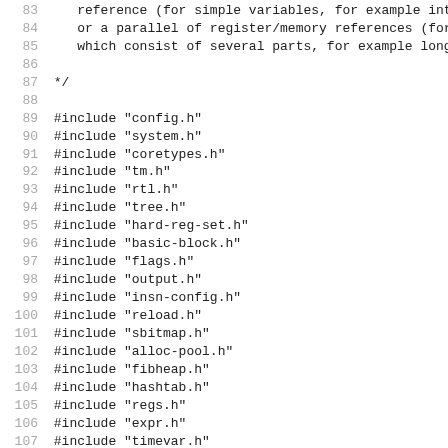83     reference (for simple variables, for example int)
84     or a parallel of register/memory references (for
85     which consist of several parts, for example long
86
87  */
88
89  #include "config.h"
90  #include "system.h"
91  #include "coretypes.h"
92  #include "tm.h"
93  #include "rtl.h"
94  #include "tree.h"
95  #include "hard-reg-set.h"
96  #include "basic-block.h"
97  #include "flags.h"
98  #include "output.h"
99  #include "insn-config.h"
100 #include "reload.h"
101 #include "sbitmap.h"
102 #include "alloc-pool.h"
103 #include "fibheap.h"
104 #include "hashtab.h"
105 #include "regs.h"
106 #include "expr.h"
107 #include "timevar.h"
108 #include "tree-pass.h"
109
110 /* Type of micro operation.  */
111 enum micro_operation_type
112 {
113   MO_USE,        /* Use location (REG or MEM).  */
114   MO_USE_NO_VAR,/* Use location which is not associated